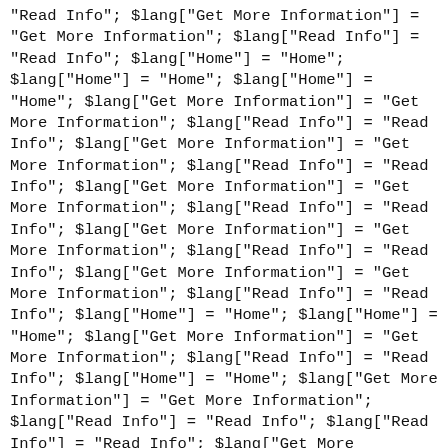"Read Info"; $lang["Get More Information"] = "Get More Information"; $lang["Read Info"] = "Read Info"; $lang["Home"] = "Home"; $lang["Home"] = "Home"; $lang["Home"] = "Home"; $lang["Get More Information"] = "Get More Information"; $lang["Read Info"] = "Read Info"; $lang["Get More Information"] = "Get More Information"; $lang["Read Info"] = "Read Info"; $lang["Get More Information"] = "Get More Information"; $lang["Read Info"] = "Read Info"; $lang["Get More Information"] = "Get More Information"; $lang["Read Info"] = "Read Info"; $lang["Get More Information"] = "Get More Information"; $lang["Read Info"] = "Read Info"; $lang["Get More Information"] = "Get More Information"; $lang["Read Info"] = "Read Info"; $lang["Home"] = "Home"; $lang["Home"] = "Home"; $lang["Get More Information"] = "Get More Information"; $lang["Read Info"] = "Read Info"; $lang["Home"] = "Home"; $lang["Get More Information"] = "Get More Information"; $lang["Read Info"] = "Read Info"; $lang["Read Info"] = "Read Info"; $lang["Get More Information"] = "Get More Information"; $lang["Read Info"] = "Read Info"; $lang["Get More Information"] = "Get More Information"; $lang["Read Info"] = "Read Info"; $lang["Home"] = "Home"; $lang["Home"] = "Home"; $lang["Home"] = "Home"; $lang["Home"] = "Home"; $lang["Get More Information"] = "Get More Information"; $lang["Read Info"] = "Read Info"; $lang["Get More Information"] = "Get More Information"; $lang["Read Info"] = "Read Info"; $lang["Get More Information"] = "Get More Information"; $lang["Read Info"] = "Read Info"; $lang["Home"] = "Home"; $lang["Home"] = "Home"; $lang["Home"] = "Home"; $lang["Home"] = "Home"; $lang["Get